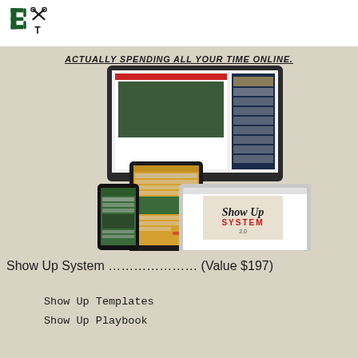BT logo
ACTUALLY SPENDING ALL YOUR TIME ONLINE.
[Figure (screenshot): Mockup of devices (desktop monitor, tablet, smartphone, laptop) showing The Show Up System 2.0 course interface]
Show Up System ………………… (Value $197)
Show Up Templates
Show Up Playbook